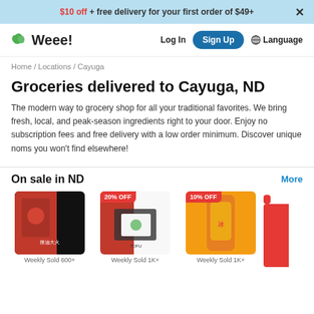$10 off + free delivery for your first order of $49+
[Figure (logo): Weee! grocery delivery app logo with green leaf icon]
Log In
Sign Up
Language
Home / Locations / Cayuga
Groceries delivered to Cayuga, ND
The modern way to grocery shop for all your traditional favorites. We bring fresh, local, and peak-season ingredients right to your door. Enjoy no subscription fees and free delivery with a low order minimum. Discover unique noms you won't find elsewhere!
On sale in ND
More
[Figure (photo): Spice product in black and red packaging]
Weekly Sold 600+
[Figure (photo): Tofu product with 20% OFF badge]
Weekly Sold 1K+
[Figure (photo): Drink product with 10% OFF badge]
Weekly Sold 1K+